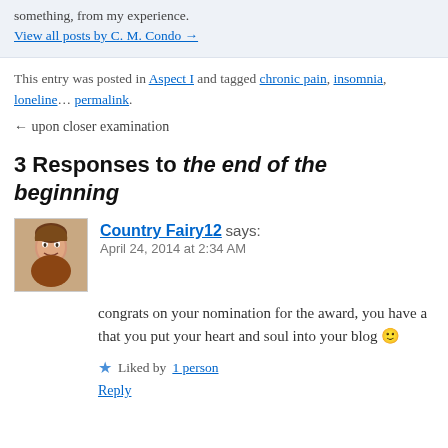something, from my experience.
View all posts by C. M. Condo →
This entry was posted in Aspect I and tagged chronic pain, insomnia, loneline… permalink.
← upon closer examination
3 Responses to the end of the beginning
Country Fairy12 says:
April 24, 2014 at 2:34 AM
congrats on your nomination for the award, you have a… that you put your heart and soul into your blog 🙂
Liked by 1 person
Reply